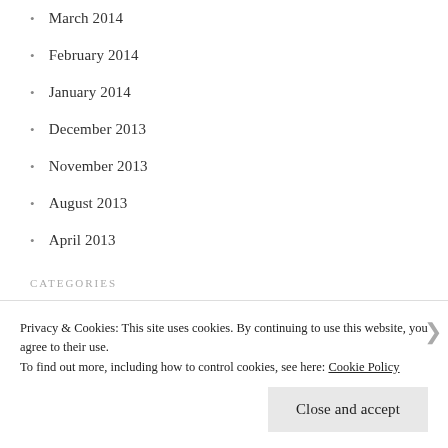March 2014
February 2014
January 2014
December 2013
November 2013
August 2013
April 2013
CATEGORIES
Uncategorized
META
Privacy & Cookies: This site uses cookies. By continuing to use this website, you agree to their use. To find out more, including how to control cookies, see here: Cookie Policy
Close and accept